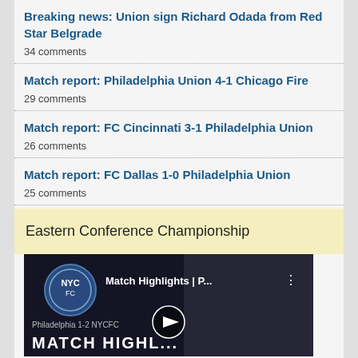Breaking news: Union sign Richard Odada from Red Star Belgrade
34 comments
Match report: Philadelphia Union 4-1 Chicago Fire
29 comments
Match report: FC Cincinnati 3-1 Philadelphia Union
26 comments
Match report: FC Dallas 1-0 Philadelphia Union
25 comments
Eastern Conference Championship
[Figure (screenshot): Video thumbnail for Match Highlights showing Philadelphia 1-2 NYCFC match, with NYCFC logo, play button, and 'MATCH HIGHLIGHTS' text overlay]